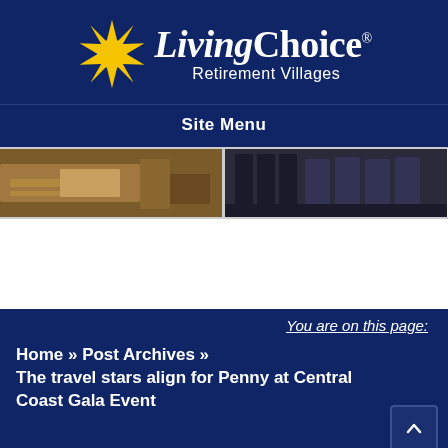[Figure (logo): LivingChoice Retirement Villages logo with yellow sun/star icon and white text on dark navy blue background]
Site Menu
[Figure (photo): Two side-by-side cropped interior photos: left shows a wooden dresser/cabinet, right shows chairs in a dim room]
You are on this page:
Home » Post Archives » The travel stars align for Penny at Central Coast Gala Event